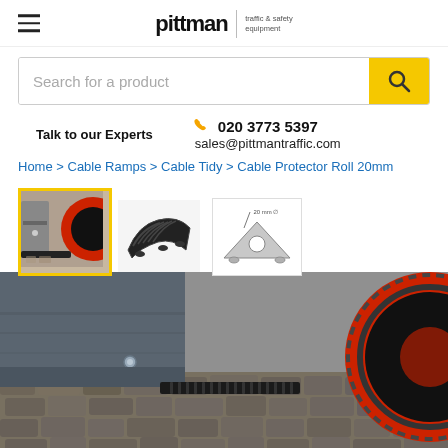[Figure (logo): Pittman traffic & safety equipment logo with hamburger menu icon]
[Figure (screenshot): Search bar with placeholder text 'Search for a product' and yellow search button]
Talk to our Experts
020 3773 5397
sales@pittmantraffic.com
Home > Cable Ramps > Cable Tidy > Cable Protector Roll 20mm
[Figure (photo): Thumbnail of cable protector installed near wheel, with yellow border (selected)]
[Figure (photo): Thumbnail of black rubber cable protector strip]
[Figure (engineering-diagram): Technical diagram of cable protector cross-section showing 20mm diameter cable channel]
[Figure (photo): Main product photo: Cable Protector Roll 20mm installed on cobblestone ground between vehicle wheels]